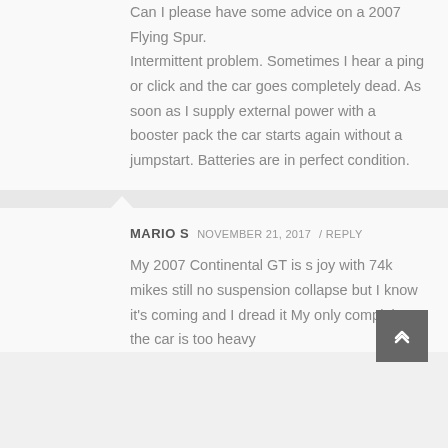Can I please have some advice on a 2007 Flying Spur. Intermittent problem. Sometimes I hear a ping or click and the car goes completely dead. As soon as I supply external power with a booster pack the car starts again without a jumpstart. Batteries are in perfect condition.
MARIO S   NOVEMBER 21, 2017 / REPLY
My 2007 Continental GT is s joy with 74k mikes still no suspension collapse but I know it's coming and I dread it My only complaint, the car is too heavy